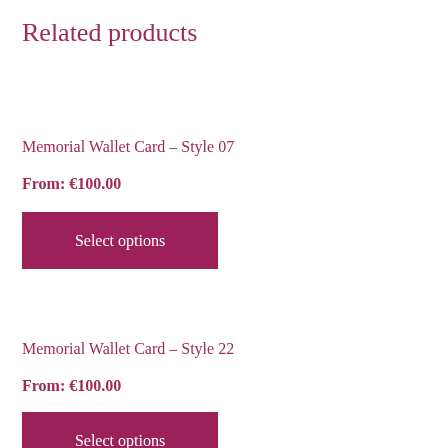Related products
Memorial Wallet Card – Style 07
From: €100.00
Select options
Memorial Wallet Card – Style 22
From: €100.00
Select options